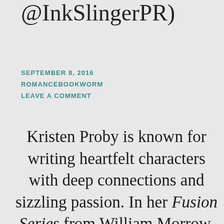@InkSlingerPR)
SEPTEMBER 8, 2016
ROMANCEBOOKWORM
LEAVE A COMMENT
Kristen Proby is known for writing heartfelt characters with deep connections and sizzling passion. In her Fusion Series from William Morrow, she seduces readers' senses with the sexy, contemporary romance in which five